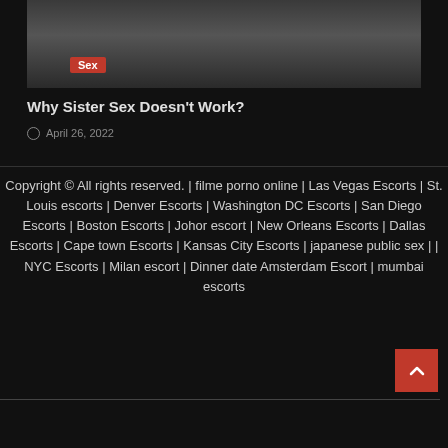[Figure (photo): Partial image of a person in black lace lingerie with a red 'Sex' badge overlay in the top-left corner of the image]
Why Sister Sex Doesn't Work?
April 26, 2022
Copyright © All rights reserved. | filme porno online | Las Vegas Escorts | St. Louis escorts | Denver Escorts | Washington DC Escorts | San Diego Escorts | Boston Escorts | Johor escort | New Orleans Escorts | Dallas Escorts | Cape town Escorts | Kansas City Escorts | japanese public sex | | NYC Escorts | Milan escort | Dinner date Amsterdam Escort | mumbai escorts